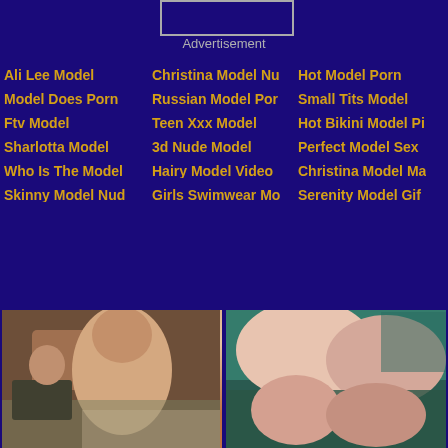[Figure (other): Advertisement placeholder box]
Advertisement
Ali Lee Model
Christina Model Nu
Hot Model Porn
Model Does Porn
Russian Model Por
Small Tits Model
Ftv Model
Teen Xxx Model
Hot Bikini Model Pi
Sharlotta Model
3d Nude Model
Perfect Model Sex
Who Is The Model
Hairy Model Video
Christina Model Ma
Skinny Model Nud
Girls Swimwear Mo
Serenity Model Gif
[Figure (photo): Photo of a woman with auburn hair in an indoor setting]
[Figure (photo): Photo of two women together on teal fabric]